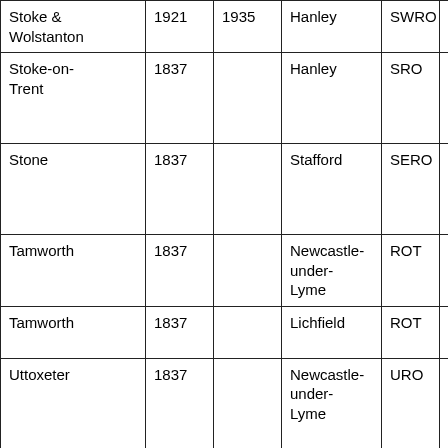| Place | From | To | District | Code | Refs |
| --- | --- | --- | --- | --- | --- |
| Stoke & Wolstanton | 1921 | 1935 | Hanley | SWRO | 1... |
| Stoke-on-Trent | 1837 |  | Hanley | SRO | 1 1 1 1 |
| Stone | 1837 |  | Stafford | SERO | 1 1 2 2 |
| Tamworth | 1837 |  | Newcastle-under-Lyme | ROT | 1 1 |
| Tamworth | 1837 |  | Lichfield | ROT | 1 1 |
| Uttoxeter | 1837 |  | Newcastle-under-Lyme | URO | 1 1 1 1 |
| Whitmore | 1837 |  | Newcastle-under-Lyme | R | 1 1 |
|  |  |  |  |  |  |